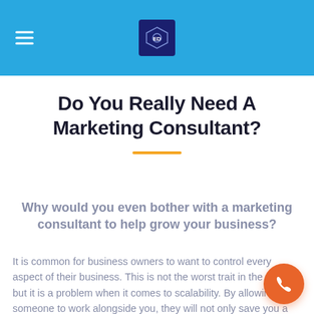Navigation header with hamburger menu and logo
Do You Really Need A Marketing Consultant?
Why would you even bother with a marketing consultant to help grow your business?
It is common for business owners to want to control every aspect of their business. This is not the worst trait in the world, but it is a problem when it comes to scalability. By allowing someone to work alongside you, they will not only save you a substantial amount of time